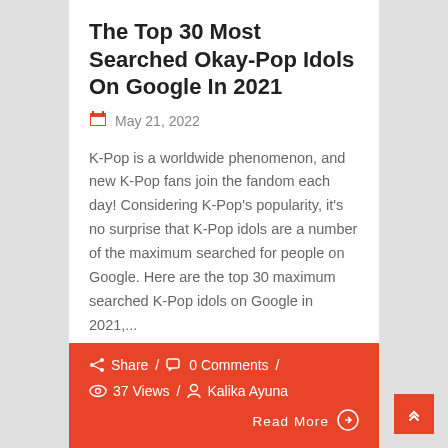The Top 30 Most Searched Okay-Pop Idols On Google In 2021
May 21, 2022
K-Pop is a worldwide phenomenon, and new K-Pop fans join the fandom each day! Considering K-Pop's popularity, it's no surprise that K-Pop idols are a number of the maximum searched for people on Google. Here are the top 30 maximum searched K-Pop idols on Google in 2021,...
Share / 0 Comments / 37 Views / Kalika Ayuna Read More